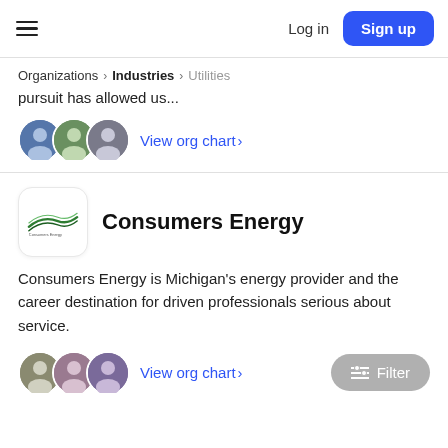Log in | Sign up
Organizations > Industries > Utilities
pursuit has allowed us...
View org chart >
Consumers Energy
Consumers Energy is Michigan's energy provider and the career destination for driven professionals serious about service.
View org chart >